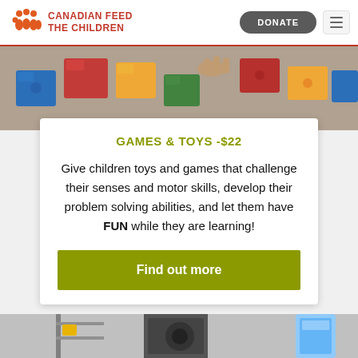CANADIAN FEED THE CHILDREN | DONATE
[Figure (photo): Colorful building blocks (blue, red, yellow, green) being played with by children's hands on a table]
GAMES & TOYS -$22
Give children toys and games that challenge their senses and motor skills, develop their problem solving abilities, and let them have FUN while they are learning!
Find out more
[Figure (photo): Bottom partial photo showing indoor scene with shelving and blue water container]